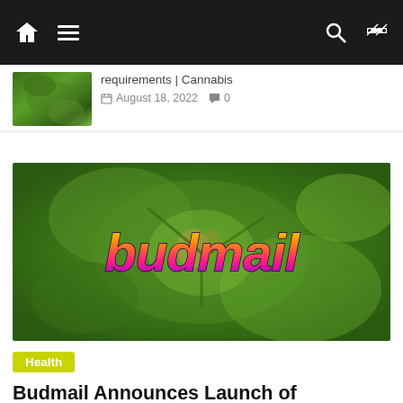Navigation bar with home, menu, search, and shuffle icons
[Figure (screenshot): Article preview thumbnail showing green cannabis plant]
requirements | Cannabis
August 18, 2022  0
[Figure (photo): Budmail logo over blurred cannabis flower background]
Health
Budmail Announces Launch of Dispensary E-commerce Platform